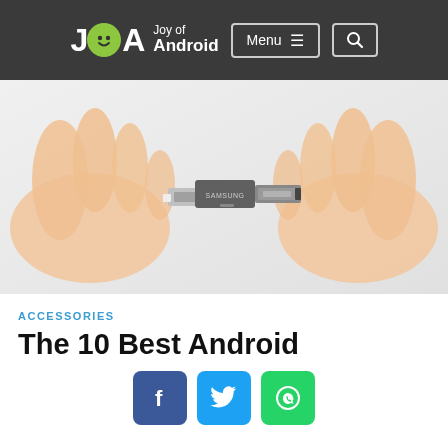Joy of Android — Menu (hamburger) | Search
[Figure (photo): Two hands holding a dual USB-C and USB-A Samsung flash drive, pulling apart its two connector ends against a white background]
ACCESSORIES
The 10 Best Android
[Figure (infographic): Social share buttons: Facebook (blue), Twitter (light blue), WhatsApp (green)]